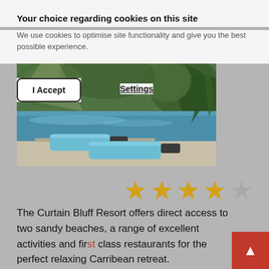Your choice regarding cookies on this site
We use cookies to optimise site functionality and give you the best possible experience.
I Accept
Settings
[Figure (photo): Outdoor resort swimming pool with turquoise lounge chairs and palm trees in tropical setting]
[Figure (other): 4 out of 5 star rating shown with gold and grey stars]
The Curtain Bluff Resort offers direct access to two sandy beaches, a range of excellent activities and first class restaurants for the perfect relaxing Carribean retreat.